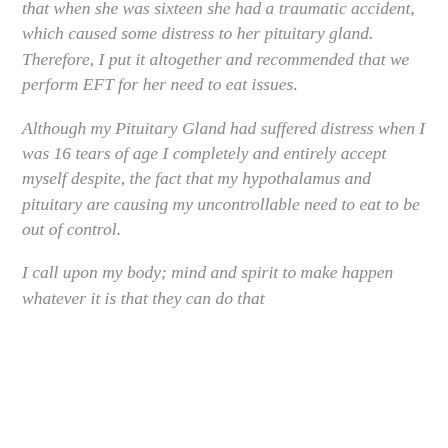...out of hunger. Further inquiring imposed that when she was sixteen she had a traumatic accident, which caused some distress to her pituitary gland. Therefore, I put it altogether and recommended that we perform EFT for her need to eat issues.
Although my Pituitary Gland had suffered distress when I was 16 tears of age I completely and entirely accept myself despite, the fact that my hypothalamus and pituitary are causing my uncontrollable need to eat to be out of control.
I call upon my body; mind and spirit to make happen whatever it is that they can do that...